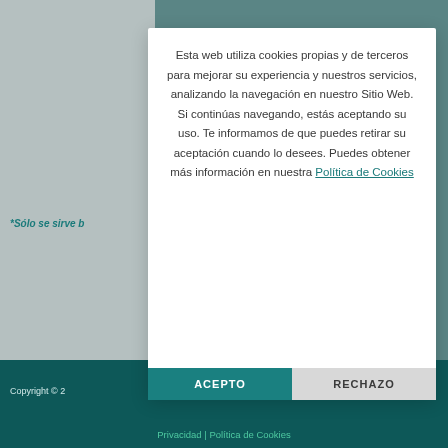Esta web utiliza cookies propias y de terceros para mejorar su experiencia y nuestros servicios, analizando la navegación en nuestro Sitio Web. Si continúas navegando, estás aceptando su uso. Te informamos de que puedes retirar su aceptación cuando lo desees. Puedes obtener más información en nuestra Política de Cookies
*Sólo se sirve b...
Copyright © 2... | Privacidad | Política de Cookies